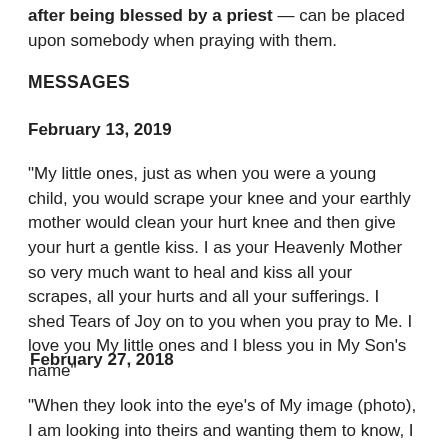after being blessed by a priest — can be placed upon somebody when praying with them.
MESSAGES
February 13, 2019
“My little ones, just as when you were a young child, you would scrape your knee and your earthly mother would clean your hurt knee and then give your hurt a gentle kiss.  I as your Heavenly Mother so very much want to heal and kiss all your scrapes, all your hurts and all your sufferings.  I shed Tears of Joy on to you when you pray to Me.  I love you My little ones and I bless you in My Son’s name”
February 27, 2018
“When they look into the eye’s of My image (photo), I am looking into theirs and wanting them to know, I LOVE YOU